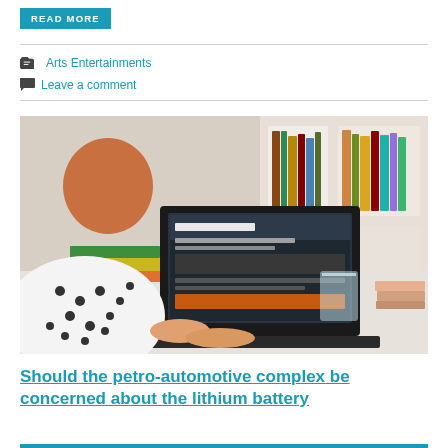READ MORE
Arts Entertainments
Leave a comment
[Figure (photo): Woman seen from behind sitting at a desk, typing on a laptop. The laptop screen shows a website. Books and a glass of water are on the desk. Bookshelf in background. Woman wearing a white polka-dot top.]
Should the petro-automotive complex be concerned about the lithium battery